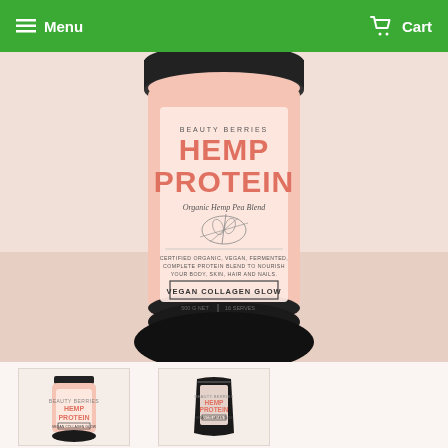Menu   Cart
[Figure (photo): Beauty Berries Hemp Protein Vegan Collagen Glow product jar with pink label, organic hemp pea blend, certified organic vegan fermented complete protein blend, 500g net 16 serves]
[Figure (photo): Thumbnail view of Hemp Protein jar from front]
[Figure (photo): Thumbnail view of Hemp Protein pouch/bag from front]